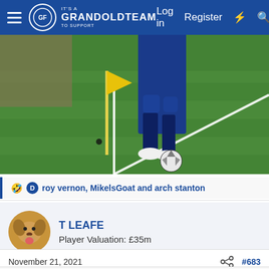GrandOldTeam - Log in | Register
[Figure (photo): Football player in blue kit taking a corner kick on a grass pitch, with a yellow corner flag visible. Only the lower body of the player is shown.]
🤣 🔵 roy vernon, MikelsGoat and arch stanton
T LEAFE
Player Valuation: £35m
November 21, 2021    #683